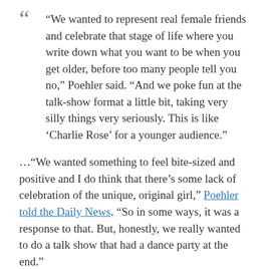“We wanted to represent real female friends and celebrate that stage of life where you write down what you want to be when you get older, before too many people tell you no,” Poehler said. “And we poke fun at the talk-show format a little bit, taking very silly things very seriously. This is like ‘Charlie Rose’ for a younger audience.”
…“We wanted something to feel bite-sized and positive and I do think that there’s some lack of celebration of the unique, original girl,” Poehler told the Daily News. “So in some ways, it was a response to that. But, honestly, we really wanted to do a talk show that had a dance party at the end.”
I am not a fanatic about Poehler, but here her typical deadpan delivery makes for hilariously honest